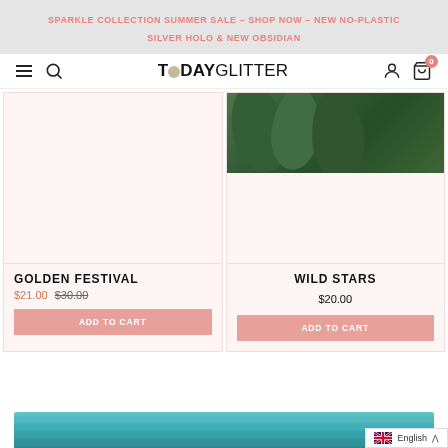SPARKLE COLLECTION SUMMER SALE – SHOP NOW – NEW NO-PLASTIC SILVER HOLO & NEW OBSIDIAN
TODAYGLITTER
[Figure (photo): Product card left: blank pink area (no image shown)]
[Figure (photo): Product card right: photo of green tropical leaves]
GOLDEN FESTIVAL
$21.00  $30.00
ADD TO CART
WILD STARS
$20.00
ADD TO CART
[Figure (photo): Teal/turquoise water surface photo at bottom]
English